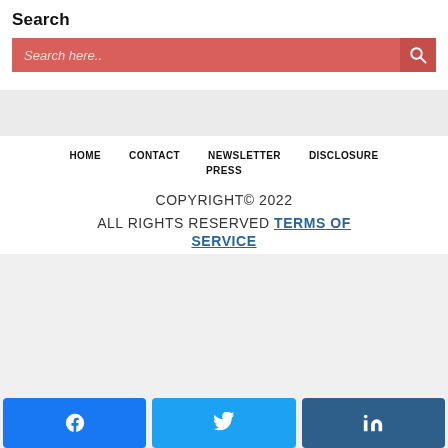Search
[Figure (screenshot): Search bar with coral/red background, placeholder text 'Search here..' and magnifying glass icon on right]
HOME   CONTACT   NEWSLETTER   DISCLOSURE   PRESS
COPYRIGHT© 2022
ALL RIGHTS RESERVED TERMS OF SERVICE
[Figure (infographic): Social media share buttons: Facebook (blue), Twitter (light blue), LinkedIn (dark blue)]